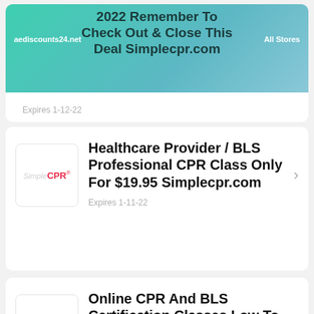[Figure (screenshot): Teal/green gradient banner card with overlaid text: 'aediscounts24.net' on left, 'All Stores' on right, and centered title '2022 Remember To Check Out & Close This Deal Simplecpr.com'. Expiry shown below banner.]
Expires 1-12-22
[Figure (logo): Simple CPR logo: 'Simple' in light gray italic, 'CPR' in red bold, registered trademark symbol]
Healthcare Provider / BLS Professional CPR Class Only For $19.95 Simplecpr.com
Expires 1-11-22
[Figure (logo): Simple CPR logo: 'Simple' in light gray italic, 'CPR' in red bold, registered trademark symbol]
Online CPR And BLS Certification Classes Low To $19.95 Simplecpr.com